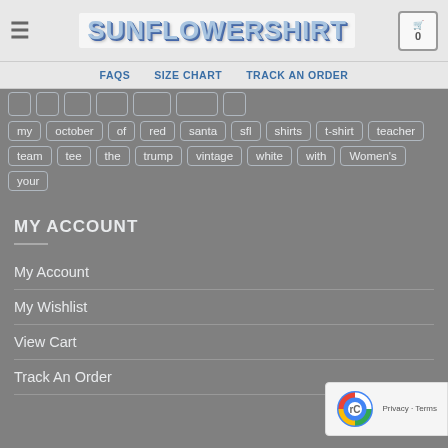[Figure (screenshot): Website header with hamburger menu, SUNFLOWERSHIRT logo, and cart icon with 0]
FAQS  SIZE CHART  TRACK AN ORDER
my  october  of  red  santa  sfl  shirts  t-shirt  teacher
team  tee  the  trump  vintage  white  with  Women's
your
MY ACCOUNT
My Account
My Wishlist
View Cart
Track An Order